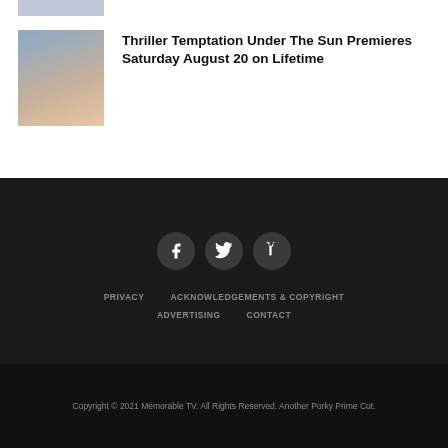[Figure (photo): Partial top image stub, partially visible at top of page]
[Figure (photo): Two women on a boat, one in foreground wearing a tank top, sunny outdoor scene]
Thriller Temptation Under The Sun Premieres Saturday August 20 on Lifetime
Social media icons: Facebook, Twitter, Tumblr
PRIVACY   ACKNOWLEDGEMENTS & COPYRIGHT   ADVERTISING   CONTACT
Copyright © 2021 Memorable TV. All Rights Reserved. Another Porky Prime Cut.